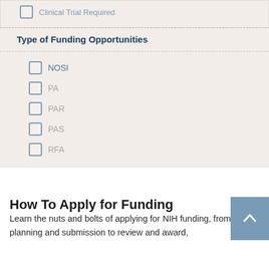Clinical Trial Required
Type of Funding Opportunities
NOSI
PA
PAR
PAS
RFA
How To Apply for Funding
Learn the nuts and bolts of applying for NIH funding, from planning and submission to review and award,